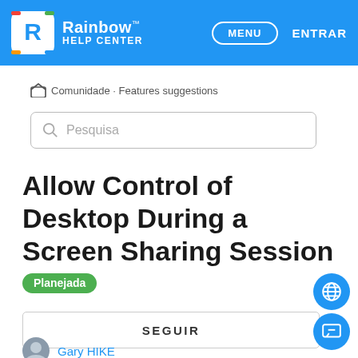Rainbow Help Center — MENU — ENTRAR
Comunidade · Features suggestions
Pesquisa
Allow Control of Desktop During a Screen Sharing Session Planejada
SEGUIR
Gary HIKE